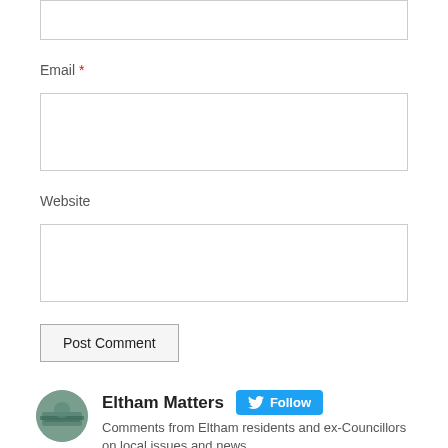[Figure (screenshot): Top portion of a web form showing the bottom of a text area input field (cropped at top of page)]
Email *
[Figure (screenshot): Email input text field (empty)]
Website
[Figure (screenshot): Website input text field (empty)]
Post Comment
[Figure (screenshot): Twitter widget showing Eltham Matters profile with Follow button, bio text, retweet notice, and start of another tweet]
Eltham Matters
Comments from Eltham residents and ex-Councillors on local issues and news.
Eltham Matters Retweeted